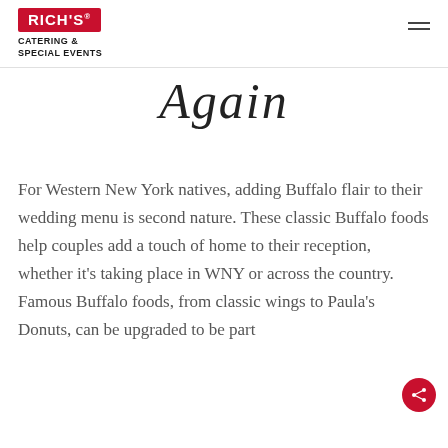RICH'S CATERING & SPECIAL EVENTS
Again
For Western New York natives, adding Buffalo flair to their wedding menu is second nature. These classic Buffalo foods help couples add a touch of home to their reception, whether it's taking place in WNY or across the country. Famous Buffalo foods, from classic wings to Paula's Donuts, can be upgraded to be part